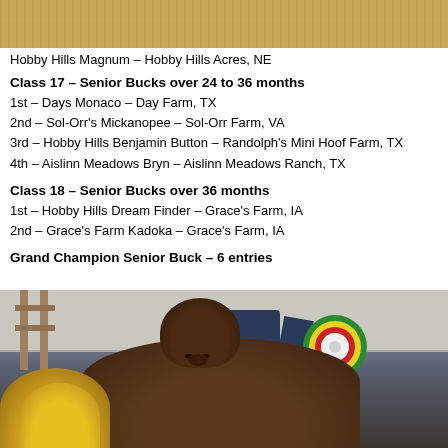[Figure (photo): Top portion of a photo showing sandy/straw ground texture]
Hobby Hills Magnum – Hobby Hills Acres, NE
Class 17 – Senior Bucks over 24 to 36 months
1st – Days Monaco – Day Farm, TX
2nd – Sol-Orr's Mickanopee – Sol-Orr Farm, VA
3rd – Hobby Hills Benjamin Button – Randolph's Mini Hoof Farm, TX
4th – Aislinn Meadows Bryn – Aislinn Meadows Ranch, TX
Class 18 – Senior Bucks over 36 months
1st – Hobby Hills Dream Finder – Grace's Farm, IA
2nd – Grace's Farm Kadoka – Grace's Farm, IA
Grand Champion Senior Buck – 6 entries
[Figure (photo): Photo of a person holding a grand champion ribbon next to a goat at a show, with yellow flowers in the background]